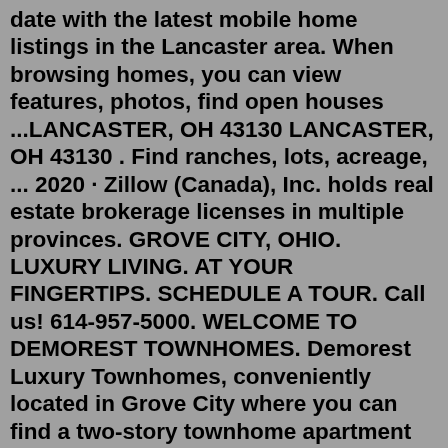date with the latest mobile home listings in the Lancaster area. When browsing homes, you can view features, photos, find open houses ...LANCASTER, OH 43130 LANCASTER, OH 43130 . Find ranches, lots, acreage, ... 2020 · Zillow (Canada), Inc. holds real estate brokerage licenses in multiple provinces. GROVE CITY, OHIO. LUXURY LIVING. AT YOUR FINGERTIPS. SCHEDULE A TOUR. Call us! 614-957-5000. WELCOME TO DEMOREST TOWNHOMES. Demorest Luxury Townhomes, conveniently located in Grove City where you can find a two-story townhome apartment you've been dreaming of. ...Zillow has 142 homes for sale in Lancaster OH. View listing photos, review sales history, and use our detailed real estate filters to find the perfect place. LANCASTER, OH 43130 LANCASTER, OH 43130 . Find ranches, lots, acreage, ... 2020 · Zillow (Canada), Inc. holds real estate brokerage licenses in multiple provinces. 114 S Tenant St , Lancaster, OH 43130-3838 is a single-family home listed for-sale at $179,000. The 1,221 sq